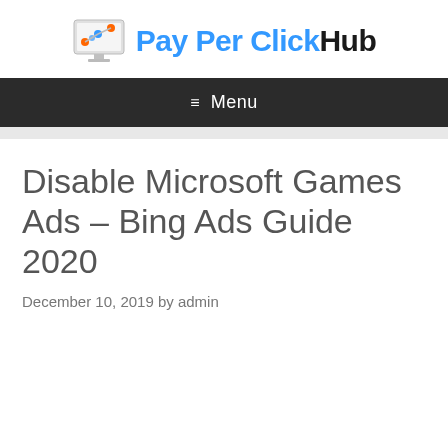[Figure (logo): Pay Per Click Hub logo: a computer monitor icon with colorful graph/chart dots, followed by 'Pay Per Click' in blue bold text and 'Hub' in black bold text]
≡ Menu
Disable Microsoft Games Ads – Bing Ads Guide 2020
December 10, 2019 by admin